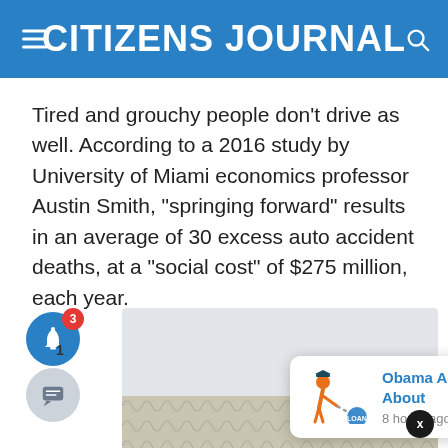CITIZENS JOURNAL
Tired and grouchy people don't drive as well. According to a 2016 study by University of Miami economics professor Austin Smith, “springing forward” results in an average of 30 excess auto accident deaths, at a “social cost” of $275 million, each year.
[Figure (screenshot): Notification bell icon (blue circle) with red badge showing '3', map/gray area behind, chat button with count '1', close X button, notification card showing 'Obama Administration Economist Warns About' with '8 hours ago' timestamp and icon of person dragging loan ball and chain, bottom image strip.]